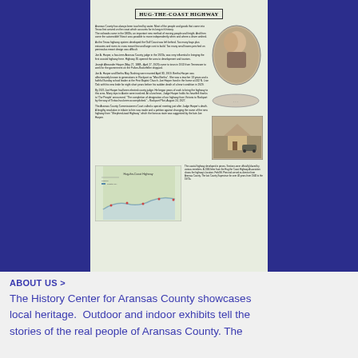HUG-THE-COAST HIGHWAY
Aransas County has always been touched by water. Most of the people and goods that came into Texas first arrived on the coast which accounts for its long rich history. The railroads came in the 1800s, an important new method of moving people and freight. And then came the automobile! Now it was possible to move independently when and where a driver wished. As the Texas highway system developed the Gulf Coast was left behind. Too many bays, bays plus estuaries and rivers to cross meant few and large cost to build. Too many small towns perched on peninsulas meant design was difficult. Joe A. Harper, a four-term Aransas County judge in the 1920s, was very influential in bringing the first coastal highway here. Highway 35 opened the area to development and tourism. Joseph Alexander Harper (May 27, 1883 - April 27, 1929) came to town in 1913 from Tennessee to work for the government at the Fulton-Rockefeller shipyard. Joe A. Harper and Bertha May Gushing were married April 30, 1919. Bertha Harper was affectionately known to generations in Rockport as 'Miss Bertha'. She was a teacher 13 years and a faithful Sunday school leader at the First Baptist Church. Joe Harper lived in the home at 432 N. Live Oak with his new bride for eight short years before his sudden death of a heart condition in 1929. By 1931 Joe Harper had been elected county judge. He began years of work to bring the highway to this area. Many trips to Austin were involved. At a luncheon, Judge Harper holds his heartfelt thanks to 'Our People' announcing, 'The completion of designation of our highway from Victoria to Rockport by the way of Tivitas has been accomplished.' - Rockport Pilot, August 24, 1927. The Aransas County Commissioners Court called a special meeting just after Judge Harper's death. A lengthy resolution in tribute to him was made and a petition against changing the name of the new highway from 'Shepherd-toad Highway' which the famous state was suggested by the late Joe Harper.
[Figure (photo): Oval portrait photo of a man and woman, historical black and white]
[Figure (photo): Small oval or rounded-rect historical photo]
[Figure (photo): Rectangular historical photo showing a house with a car, black and white]
[Figure (map): Map of the Hug-the-Coast Highway showing coastal Texas route]
The coastal highway developed in pieces. Sections were officially blazed by various members. A 1934 letter from the Hug the Coast Highway Association shows the highway's location. Field M. Piercival served as director from Aransas County. The last County Supervisor for over 40 years from 1940 to the 1970s.
ABOUT US >
The History Center for Aransas County showcases local heritage. Outdoor and indoor exhibits tell the stories of the real people of Aransas County. The